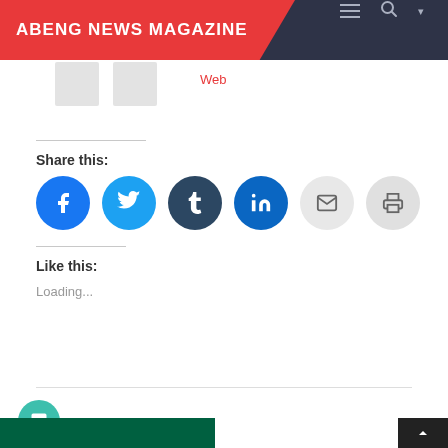ABENG NEWS MAGAZINE
Web
Share this:
[Figure (infographic): Row of social sharing buttons: Facebook (blue), Twitter (light blue), Tumblr (dark navy), LinkedIn (dark blue), Email (light grey), Print (light grey)]
Like this:
Loading...